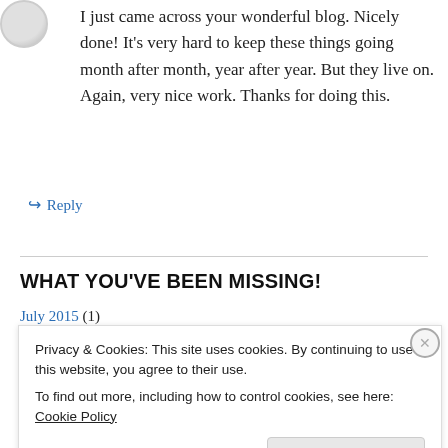[Figure (photo): Small circular avatar/profile image, partially visible at top-left]
I just came across your wonderful blog. Nicely done! It's very hard to keep these things going month after month, year after year. But they live on. Again, very nice work. Thanks for doing this.
↳ Reply
WHAT YOU'VE BEEN MISSING!
July 2015 (1)
Privacy & Cookies: This site uses cookies. By continuing to use this website, you agree to their use.
To find out more, including how to control cookies, see here: Cookie Policy